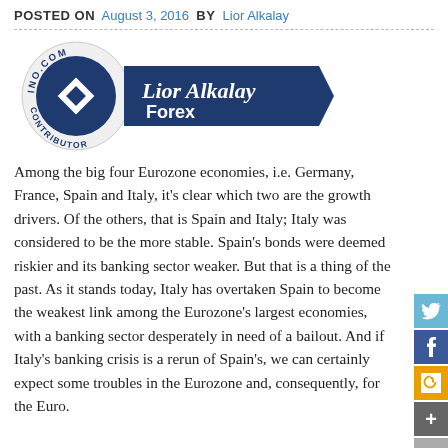POSTED ON  August 3, 2016  BY  Lior Alkalay
[Figure (logo): INO.COM Contributor badge with Lior Alkalay Forex banner]
Among the big four Eurozone economies, i.e. Germany, France, Spain and Italy, it's clear which two are the growth drivers. Of the others, that is Spain and Italy; Italy was considered to be the more stable. Spain's bonds were deemed riskier and its banking sector weaker. But that is a thing of the past. As it stands today, Italy has overtaken Spain to become the weakest link among the Eurozone's largest economies, with a banking sector desperately in need of a bailout. And if Italy's banking crisis is a rerun of Spain's, we can certainly expect some troubles in the Eurozone and, consequently, for the Euro.